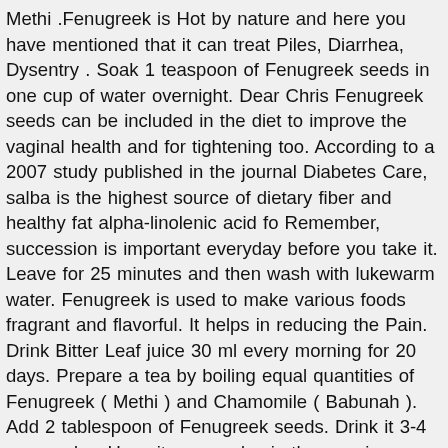Methi .Fenugreek is Hot by nature and here you have mentioned that it can treat Piles, Diarrhea, Dysentry . Soak 1 teaspoon of Fenugreek seeds in one cup of water overnight. Dear Chris Fenugreek seeds can be included in the diet to improve the vaginal health and for tightening too. According to a 2007 study published in the journal Diabetes Care, salba is the highest source of dietary fiber and healthy fat alpha-linolenic acid fo Remember, succession is important everyday before you take it. Leave for 25 minutes and then wash with lukewarm water. Fenugreek is used to make various foods fragrant and flavorful. It helps in reducing the Pain. Drink Bitter Leaf juice 30 ml every morning for 20 days. Prepare a tea by boiling equal quantities of Fenugreek ( Methi ) and Chamomile ( Babunah ). Add 2 tablespoon of Fenugreek seeds. Drink it 3-4 cups a day. Have it once a day in the morning. Celery seed is used by some to treat health conditions including: 1. Grind equal quantity of Turkey Berry , Black Pepper, Curry Leaf, Cumin and Fenugreek seed together. Sow seeds ¼ inches deep in a good potting mix or soil in the desired